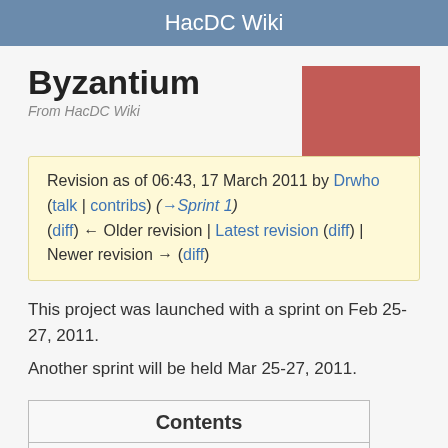HacDC Wiki
Byzantium
From HacDC Wiki
Revision as of 06:43, 17 March 2011 by Drwho (talk | contribs) (→Sprint 1)
(diff) ← Older revision | Latest revision (diff) | Newer revision → (diff)
This project was launched with a sprint on Feb 25-27, 2011.
Another sprint will be held Mar 25-27, 2011.
Contents
1 Project Goals